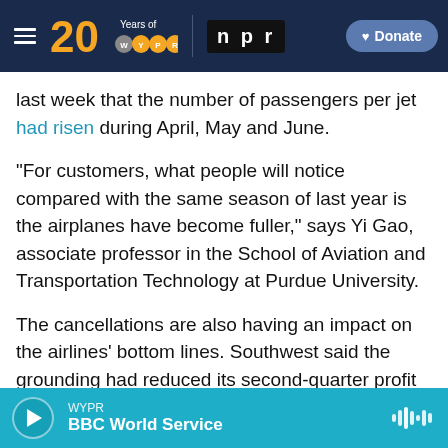[Figure (screenshot): WYPR 20 Years logo with NPR logo and Donate button on dark navy header bar]
last week that the number of passengers per jet had risen during April, May and June.
"For customers, what people will notice compared with the same season of last year is the airplanes have become fuller," says Yi Gao, associate professor in the School of Aviation and Transportation Technology at Purdue University.
The cancellations are also having an impact on the airlines' bottom lines. Southwest said the grounding had reduced its second-quarter profit by $175 million.
WYPR BBC World Service